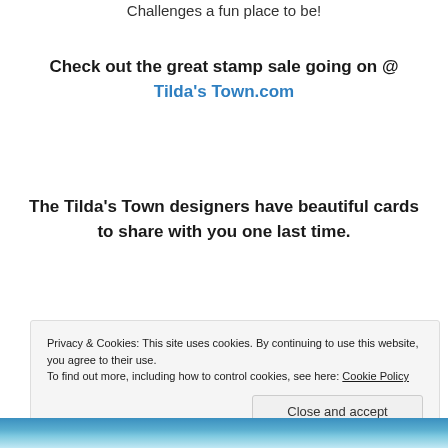Challenges a fun place to be!
Check out the great stamp sale going on @ Tilda's Town.com
The Tilda's Town designers have beautiful cards to share with you one last time.
Privacy & Cookies: This site uses cookies. By continuing to use this website, you agree to their use.
To find out more, including how to control cookies, see here: Cookie Policy
Close and accept
[Figure (photo): Bottom portion of an image showing what appears to be a blue-toned decorative card or craft item]